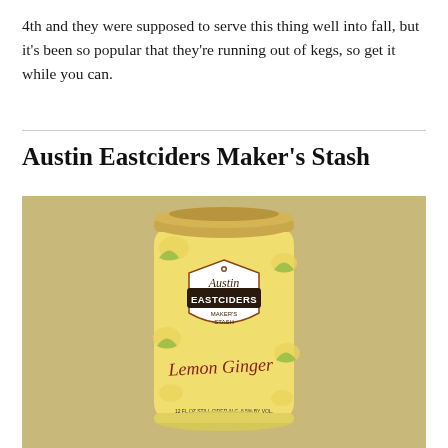4th and they were supposed to serve this thing well into fall, but it's been so popular that they're running out of kegs, so get it while you can.
Austin Eastciders Maker's Stash
[Figure (photo): A can of Austin Eastciders Maker's Stash Lemon Ginger cider, with a yellow label featuring lemon and ginger design, gold top, and a shield logo reading 'Austin Eastciders Maker's Stash Lemon Ginger'. Text at bottom reads '12 FL OZ STILL CIDER ALC. 6.5% BY VOL.']